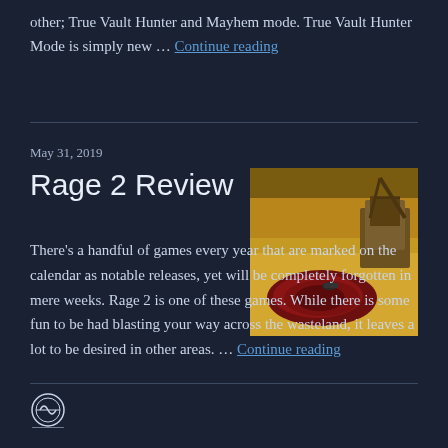other; True Vault Hunter and Mayhem mode. True Vault Hunter Mode is simply new … Continue reading
May 31, 2019
Rage 2 Review
[Figure (photo): Screenshot from Rage 2 game showing a wasteland scene with a large blood stain on sandy ground and a vehicle/structure in the background]
There's a handful of games every year that are marked on the calendar as notable releases, yet will be completely forgotten in mere weeks. Rage 2 is one of these games. While there is some fun to be had blasting your way across the wasteland, it leaves a lot to be desired in other areas. … Continue reading
WordPress logo